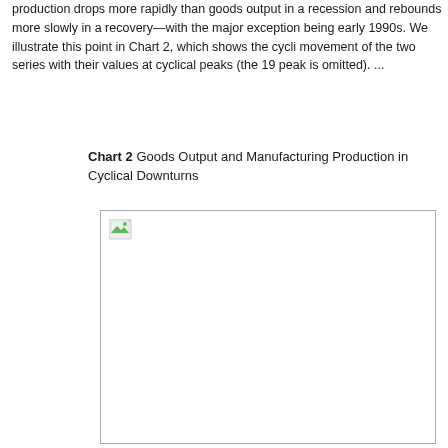production drops more rapidly than goods output in a recession and rebounds more slowly in a recovery—with the major exception being early 1990s. We illustrate this point in Chart 2, which shows the cyclical movement of the two series with their values at cyclical peaks (the 19… peak is omitted). ...
Chart 2 Goods Output and Manufacturing Production in Cyclical Downturns
[Figure (other): Placeholder image box for Chart 2: Goods Output and Manufacturing Production in Cyclical Downturns. The image failed to load (broken image icon visible in top-left corner of a white rectangle with border).]